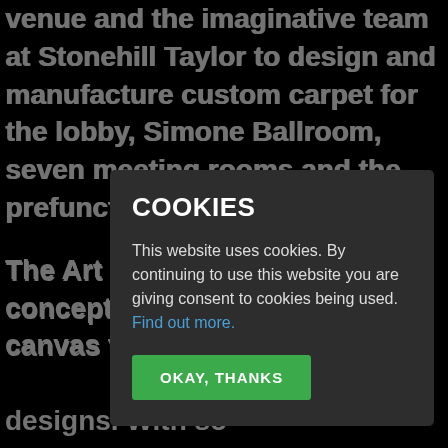venue and the imaginative team at Stonehill Taylor to design and manufacture custom carpet for the lobby, Simone Ballroom, seven meeting rooms and the prefunction areas.
The Art of Ulster refers to our concept of utilising that large canvas that flooring offers to create statement designs. With so we can translate al flooring that con e.
At Saint Kate, th d pattern of rich b perfectly with th s the rest of the h k creates a sense o
[Figure (screenshot): Cookie consent modal overlay on a dark background website. Modal titled 'COOKIES' with body text 'This website uses cookies. By continuing to use this website you are giving consent to cookies being used. Find out more.' and a green 'OKAY, THANKS' button.]
In the impressive Simone Ballroom, additional layers have been added to the lobby design to maximise sea